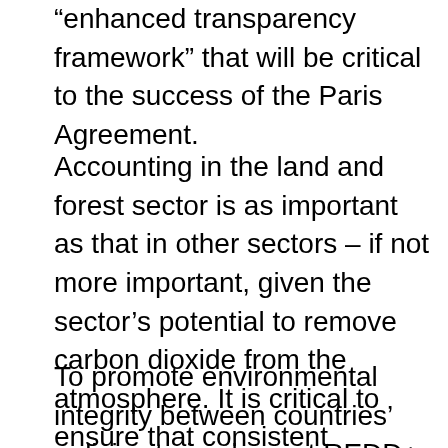“enhanced transparency framework” that will be critical to the success of the Paris Agreement.
Accounting in the land and forest sector is as important as that in other sectors – if not more important, given the sector’s potential to remove carbon dioxide from the atmosphere. It is critical to ensure that consistent principles apply throughout all sectors, including effective accounting that avoids double counting of emissions reductions.
To promote environmental integrity between countries’ policies to implement REDD+, a report published today by EDF and four other leading organizations collected...